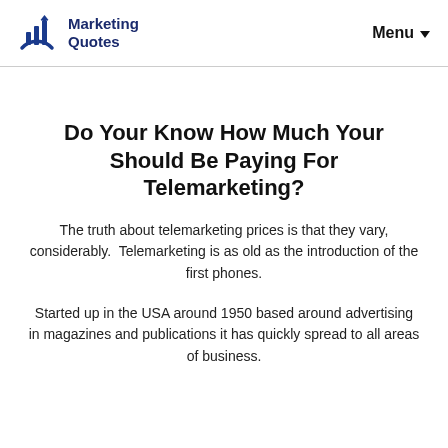Marketing Quotes  Menu
Do Your Know How Much Your Should Be Paying For Telemarketing?
The truth about telemarketing prices is that they vary, considerably.  Telemarketing is as old as the introduction of the first phones.
Started up in the USA around 1950 based around advertising in magazines and publications it has quickly spread to all areas of business.